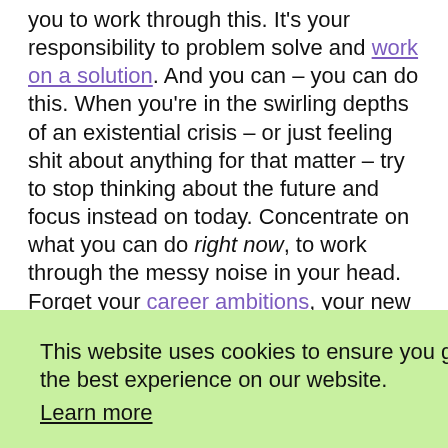you to work through this. It's your responsibility to problem solve and work on a solution. And you can – you can do this. When you're in the swirling depths of an existential crisis – or just feeling shit about anything for that matter – try to stop thinking about the future and focus instead on today. Concentrate on what you can do right now, to work through the messy noise in your head. Forget your career ambitions, your new goal is to get through to the end of the day. By the time you
This website uses cookies to ensure you get the best experience on our website. Learn more [Deny] [Allow]
we'll never discover the source of our stress and